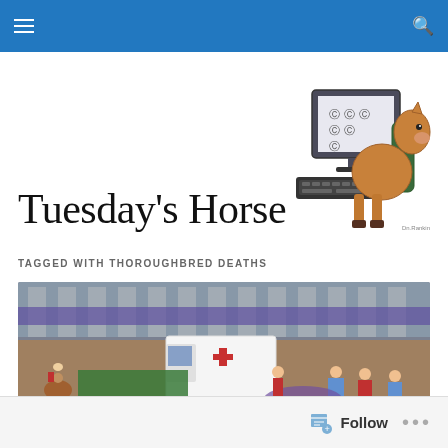Tuesday's Horse — navigation bar
Tuesday's Horse
[Figure (illustration): Cartoon illustration of a horse sitting in a chair typing on a computer keyboard, with a monitor showing horseshoe symbols]
TAGGED WITH THOROUGHBRED DEATHS
[Figure (photo): Horse racing track scene showing a white ambulance/horse van, a jockey on horseback, riders in purple, staff with a green screen/curtain, and race track personnel running — suggesting a horse injury incident at a racetrack]
Follow ...